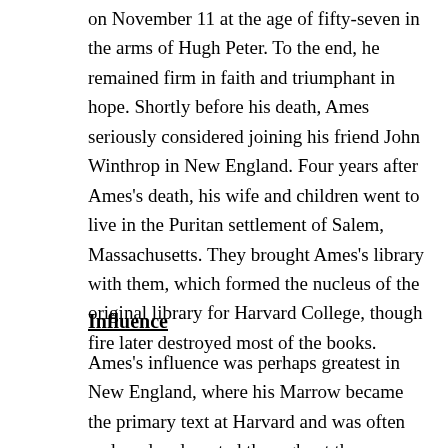on November 11 at the age of fifty-seven in the arms of Hugh Peter. To the end, he remained firm in faith and triumphant in hope. Shortly before his death, Ames seriously considered joining his friend John Winthrop in New England. Four years after Ames's death, his wife and children went to live in the Puritan settlement of Salem, Massachusetts. They brought Ames's library with them, which formed the nucleus of the original library for Harvard College, though fire later destroyed most of the books.
Influence
Ames's influence was perhaps greatest in New England, where his Marrow became the primary text at Harvard and was often and read and quoted throughout the colonies. Then, too, his writings on church issues laid the groundwork for non-separating Congregationalism in New England, a movement that maintained that the Congregational churches of